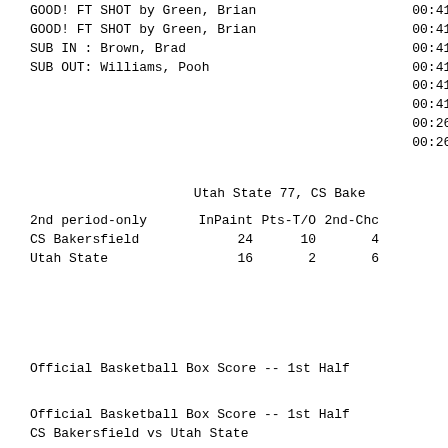GOOD! FT SHOT by Green, Brian                       00:41
GOOD! FT SHOT by Green, Brian                       00:41
SUB IN : Brown, Brad                                00:41
SUB OUT: Williams, Pooh                             00:41
                                                    00:41
                                                    00:41
                                                    00:26
                                                    00:26
Utah State 77, CS Bake
| 2nd period-only | InPaint | Pts-T/O | 2nd-Chc |
| --- | --- | --- | --- |
| CS Bakersfield | 24 | 10 | 4 |
| Utah State | 16 | 2 | 6 |
Official Basketball Box Score -- 1st Half
Official Basketball Box Score -- 1st Half
CS Bakersfield vs Utah State